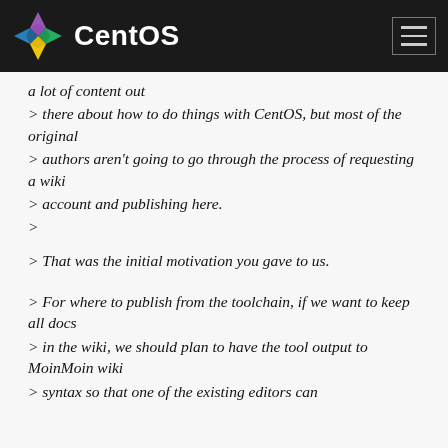CentOS
a lot of content out
> there about how to do things with CentOS, but most of the original
> authors aren't going to go through the process of requesting a wiki
> account and publishing here.
>
> That was the initial motivation you gave to us.

> For where to publish from the toolchain, if we want to keep all docs
> in the wiki, we should plan to have the tool output to MoinMoin wiki
> syntax so that one of the existing editors can